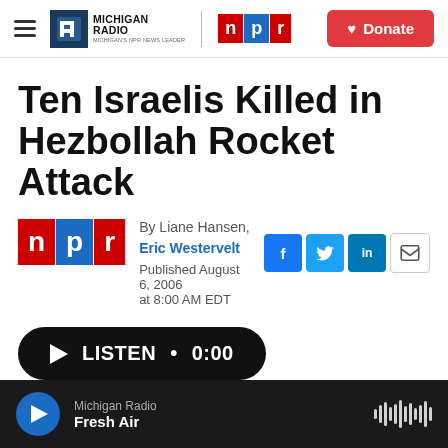Michigan Radio | NPR | Donate
Ten Israelis Killed in Hezbollah Rocket Attack
By Liane Hansen, Eric Westervelt
Published August 6, 2006 at 8:00 AM EDT
LISTEN • 0:00
Michigan Radio Fresh Air